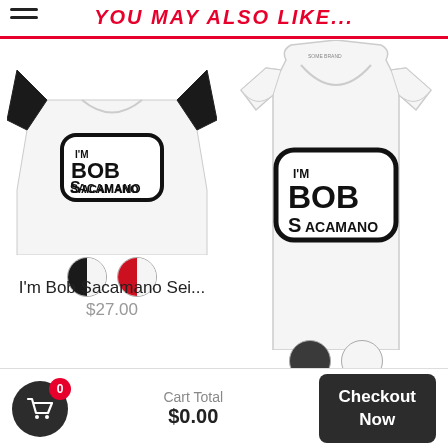YOU MAY ALSO LIKE...
[Figure (photo): Baseball raglan t-shirt with black sleeves and white body, featuring 'I'm Bob Sacamano' logo print, with two color swatches below (black/white split and red/white split)]
I'm Bob Sacamano Sei...
$27.00
[Figure (photo): White tank top/muscle shirt featuring 'I'm Bob Sacamano' logo print, with two color swatches below (solid dark/charcoal and solid white)]
Cart Total $0.00  Checkout Now